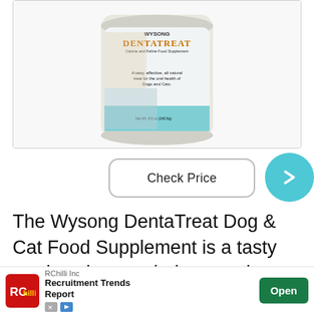[Figure (photo): Wysong DentaTreat canine and feline food supplement product container. Label reads: WYSONG, DentaTreat, Canine and Feline Food Supplement. Text on label: A tasty, effective, all natural treat for the oral health of Dogs and Cats. Net Wt. 8.5 oz (240.9g).]
Check Price
The Wysong DentaTreat Dog & Cat Food Supplement is a tasty product that can help you take a natural approach to supporting your kitty's presence
[Figure (other): Advertisement banner: RChilli Inc Recruitment Trends Report. Open button.]